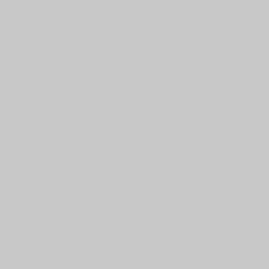| old ( |
| --- |
| --- ¬Can |
| --- ¬Want |
| --- |
Save the file again. If y text format (without an be sure to maintain the
Removing lines with comm your SAS version)
(Theoretically, both SAS and a data table is being importe evaluate them for automatic
In the first lines of the data e
|  |  |
| --- | --- |
| Line 1: | column h |
| Line 2: | empty |
| Line 3: | comment |
| Line 4: | empty |
| Line 5 ff.: | data (1 qu |
When SAS imports such a fi things look very text like: SAS